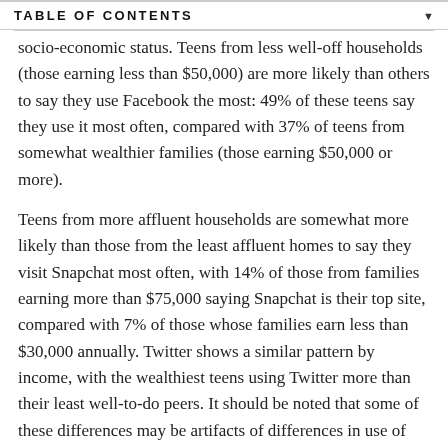TABLE OF CONTENTS
socio-economic status. Teens from less well-off households (those earning less than $50,000) are more likely than others to say they use Facebook the most: 49% of these teens say they use it most often, compared with 37% of teens from somewhat wealthier families (those earning $50,000 or more).
Teens from more affluent households are somewhat more likely than those from the least affluent homes to say they visit Snapchat most often, with 14% of those from families earning more than $75,000 saying Snapchat is their top site, compared with 7% of those whose families earn less than $30,000 annually. Twitter shows a similar pattern by income, with the wealthiest teens using Twitter more than their least well-to-do peers. It should be noted that some of these differences may be artifacts of differences in use of these sites by these different subgroups of teens.